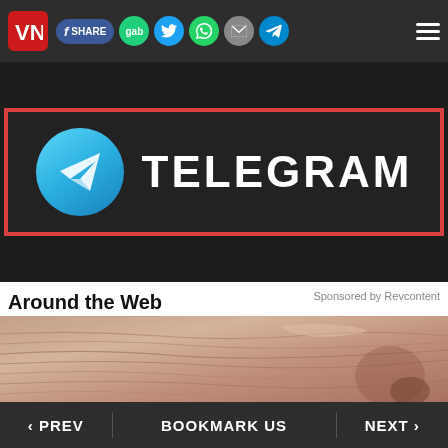VN logo | SHARE | gab | Twitter | WhatsApp | Email | Telegram | Menu
[Figure (logo): Telegram logo banner with blue circle paper-plane icon and white bold TELEGRAM text on dark background with red border]
Around the Web
Sponsored by Revcontent
[Figure (photo): Close-up photo of elderly person's wrinkled face/skin, showing cheek and nose area]
‹ PREV  BOOKMARK US  NEXT ›